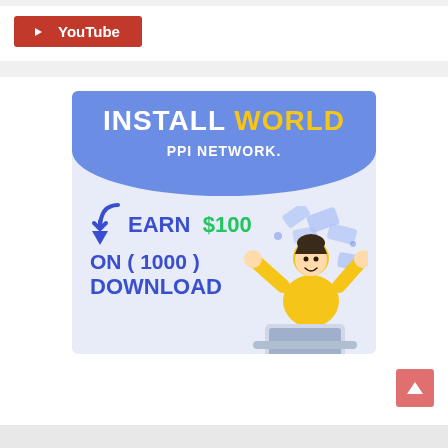[Figure (logo): YouTube button with red background and white play icon, labeled 'YouTube']
[Figure (infographic): Install World PPI Network advertisement banner. Blue header with 'INSTALL WORLD' text (white and yellow), 'PPI NETWORK.' subtitle in white. Lower section shows 'EARN $100' (blue and green) with arrow, 'ON ( 1000 ) DOWNLOAD' in blue, and an illustration of a person in yellow shirt celebrating with money flying around and a laptop.]